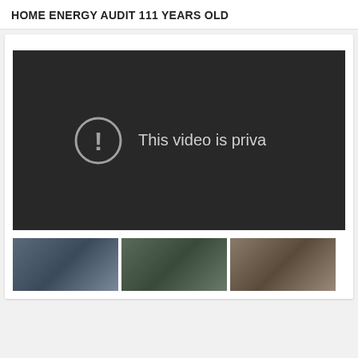HOME ENERGY AUDIT 111 YEARS OLD
[Figure (screenshot): An embedded video player showing a private video error message. Dark background with a circular exclamation mark icon and text 'This video is priva...' (truncated).]
[Figure (screenshot): Row of video thumbnail images partially visible at the bottom of the page.]